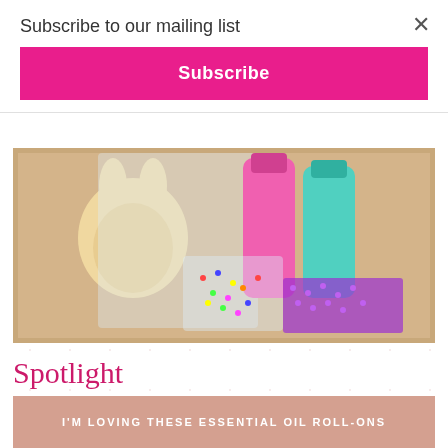Subscribe to our mailing list
Subscribe
[Figure (photo): A cookie decorating kit box containing a bunny-shaped sugar cookie, pink and teal frosting bags, colorful sprinkles, and purple sugar pearls]
Spotlight
I'M LOVING THESE ESSENTIAL OIL ROLL-ONS